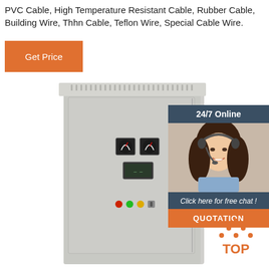PVC Cable, High Temperature Resistant Cable, Rubber Cable, Building Wire, Thhn Cable, Teflon Wire, Special Cable Wire.
Get Price
[Figure (photo): Gray metal electrical cabinet/control panel with ventilation slots on top, two analog meters, a digital display, and colored indicator lights/switches on the front panel]
[Figure (photo): 24/7 Online chat widget with photo of smiling woman wearing headset, dark blue header reading '24/7 Online', text 'Click here for free chat !', and orange QUOTATION button]
[Figure (infographic): Orange 'TOP' back-to-top icon with dotted triangle arrow above the word TOP in bold orange letters]